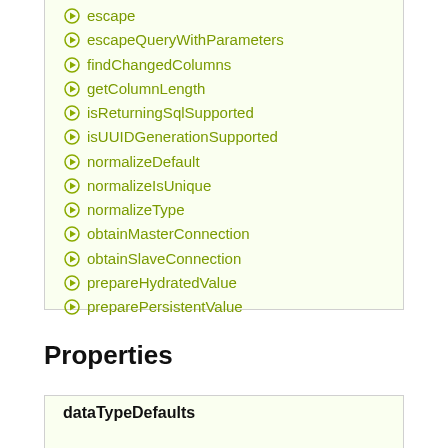escape
escapeQueryWithParameters
findChangedColumns
getColumnLength
isReturningSqlSupported
isUUIDGenerationSupported
normalizeDefault
normalizeIsUnique
normalizeType
obtainMasterConnection
obtainSlaveConnection
prepareHydratedValue
preparePersistentValue
Properties
dataTypeDefaults